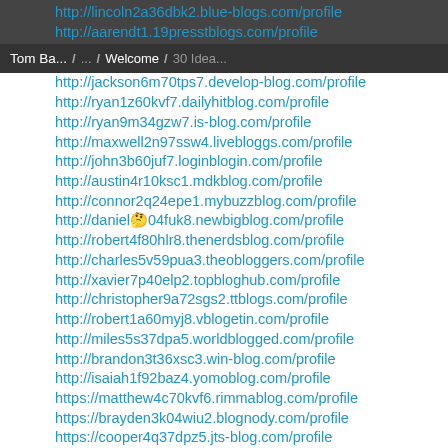Tom Ba... / ... / Welcome / 30 Idea...
http://lincoln2a36dbk2.blue-blogs.com/profile
http://aarendt1.19presstblogs.com/profile
http://jackson6m70tps7.develop-blog.com/profile
http://ryan1z60kvf7.dailyhitblog.com/profile
http://ryan9m34gzw7.is-blog.com/profile
http://maxwell2n97ssw4.livebloggs.com/profile
http://john3b60juf7.loginblogin.com/profile
http://austin4r10ksc1.mdkblog.com/profile
http://connor2q24epe1.mybuzzblog.com/profile
http://daniel🤔04fuk8.newbigblog.com/profile
http://robert4f80hlr8.thenerdsblog.com/profile
http://charles5v59pua3.theobloggers.com/profile
http://xavier7p40elp2.topbloghub.com/profile
http://christopher9a72sgs2.ttblogs.com/profile
http://robert1a60myj8.vblogetin.com/profile
http://miles5s37dpa5.worldblogged.com/profile
http://brandon3t36xsc3.win-blog.com/profile
http://isaiah1f92baz4.yomoblog.com/profile
https://matthew4c70kvf6.rimmablog.com/profile
https://brayden3k04wiu2.blognody.com/profile
https://cooper4q37dpz5.jts-blog.com/profile
https://chase3m25acu1.blogsumer.com/profile
https://luke3r23zsk8.bloggazza.com/profile